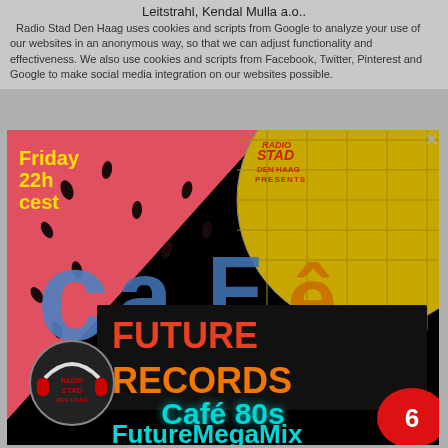Leitstrahl, Kendal Mulla a.o..
Radio Stad Den Haag uses cookies and scripts from Google to analyze your use of our websites in an anonymous way, so that we can adjust functionality and effectiveness. We also use cookies and scripts from Facebook, Twitter, Pinterest and Google to make social media integration on our websites possible.
[Figure (illustration): Promotional image for Radio Stad Den Haag presenting Café 80s FutureMegaMix, Friday 22h CEST. Features a watermelon triangle background, disco ball, Café 80s logo letters, Future Records box, Radio Stad Den Haag circular logo, cyan text reading Café 80s FutureMegaMix, and a red notification badge with number 6.]